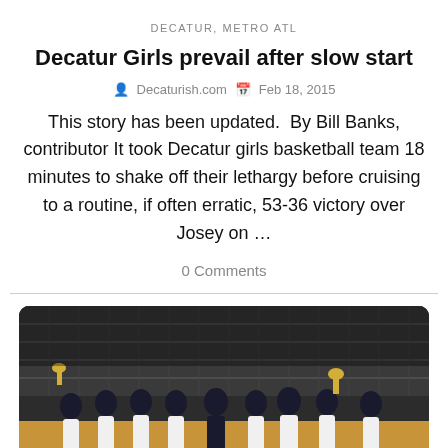DECATUR, METRO ATL
Decatur Girls prevail after slow start
Decaturish.com  Feb 18, 2015
This story has been updated.  By Bill Banks, contributor It took Decatur girls basketball team 18 minutes to shake off their lethargy before cruising to a routine, if often erratic, 53-36 victory over Josey on ...
0 Comments
[Figure (photo): Group photo of Decatur girls basketball team posing on a basketball court, some holding trophies, wearing white uniforms, with gymnasium bleachers in the background.]